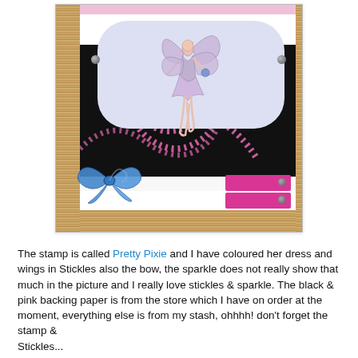[Figure (photo): A handmade greeting card featuring a fairy stamp (Pretty Pixie) with wings and dress coloured in sparkly Stickles, mounted on black and pink swirl patterned backing paper. The card has a wooden frame effect border, a blue bow embellishment in the lower left, pink rectangles with grey rivets/studs on the right, and a white cloud-shaped label behind the fairy.]
The stamp is called Pretty Pixie and I have coloured her dress and wings in Stickles also the bow, the sparkle does not really show that much in the picture and I really love stickles & sparkle. The black & pink backing paper is from the store which I have on order at the moment, everything else is from my stash, ohhhh! don't forget the stamp & Stickles...